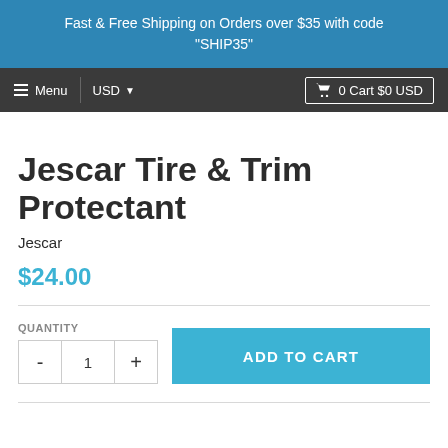Fast & Free Shipping on Orders over $35 with code "SHIP35"
≡ Menu  USD ▼   🛒 0 Cart $0 USD
Jescar Tire & Trim Protectant
Jescar
$24.00
QUANTITY
- 1 +
ADD TO CART